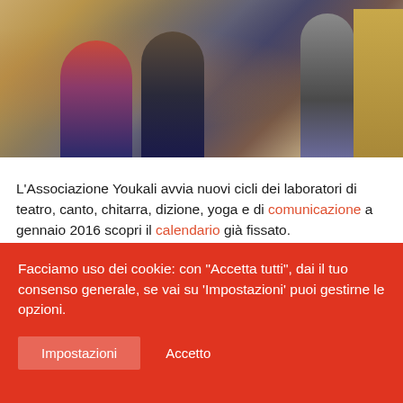[Figure (photo): Photo of people in a room, possibly a theater or workshop setting, with cardboard boxes in the background.]
L'Associazione Youkali avvia nuovi cicli dei laboratori di teatro, canto, chitarra, dizione, yoga e di comunicazione a gennaio 2016 scopri il calendario già fissato.
E' possibile iscriversi in ogni momento dell'anno ai corsi di gruppo, la prima lezione è sempre gratuita,  ed è altresì possibile chiedere in segreteria di essere messi in contatto diretto con i formatori e prenotare lezioni individuali sia in
Facciamo uso dei cookie: con "Accetta tutti", dai il tuo consenso generale, se vai su 'Impostazioni' puoi gestirne le opzioni.